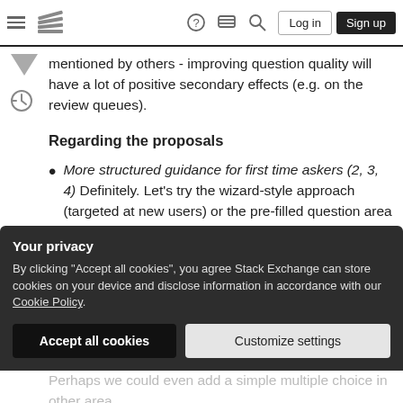Stack Exchange navigation bar with hamburger menu, logo, help, chat, search icons, Log in and Sign up buttons
mentioned by others - improving question quality will have a lot of positive secondary effects (e.g. on the review queues).
Regarding the proposals
More structured guidance for first time askers (2, 3, 4) Definitely. Let's try the wizard-style approach (targeted at new users) or the pre-filled question area (which might make sense for everyone, not just new users) - perhaps with
Your privacy
By clicking "Accept all cookies", you agree Stack Exchange can store cookies on your device and disclose information in accordance with our Cookie Policy.
Perhaps we could even add a simple multiple choice in other area...